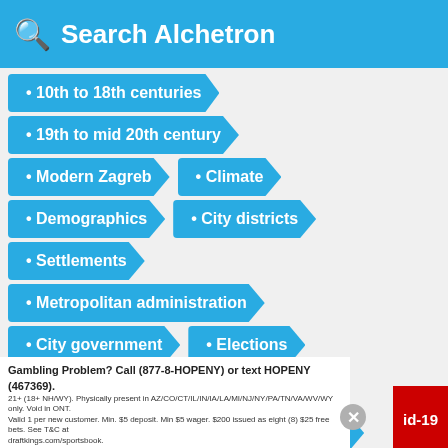Search Alchetron
10th to 18th centuries
19th to mid 20th century
Modern Zagreb
Climate
Demographics
City districts
Settlements
Metropolitan administration
City government
Elections
Highways
Roads
Bridges
Public transportation
Tram network
Gambling Problem? Call (877-8-HOPENY) or text HOPENY (467369). 21+ (18+ NH/WY). Physically present in AZ/CO/CT/IL/IN/IA/LA/MI/NJ/NY/PA/TN/VA/WV/WY only. Void in ONT. Valid 1 per new customer. Min. $5 deposit. Min $5 wager. $200 issued as eight (8) $25 free bets. See T&C at draftkings.com/sportsbook.
id-19